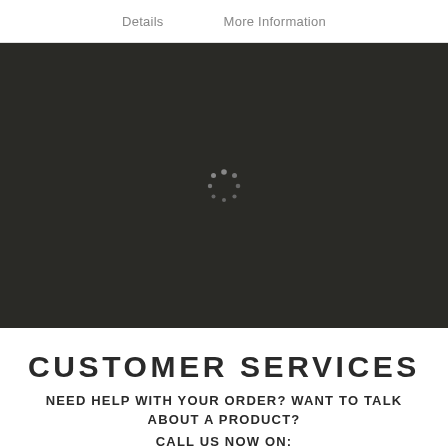Details   More Information
[Figure (screenshot): Dark background area with a loading spinner (circular dots pattern) centered in it]
CUSTOMER SERVICES
NEED HELP WITH YOUR ORDER? WANT TO TALK ABOUT A PRODUCT?
CALL US NOW ON: